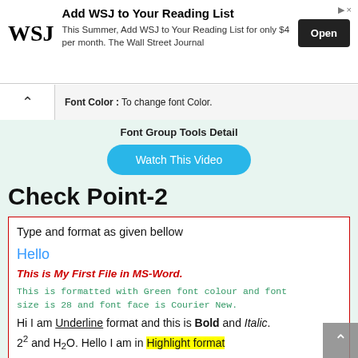[Figure (screenshot): WSJ advertisement banner: 'Add WSJ to Your Reading List' with WSJ logo, promotional text, and Open button]
Font Color : To change font Color.
Font Group Tools Detail
Watch This Video
Check Point-2
Type and format as given bellow
Hello
This is My First File in MS-Word.
This is formatted with Green font colour and font size is 28 and font face is Courier New.
Hi I am Underline format and this is Bold and Italic.
2² and H₂O. Hello I am in Highlight format